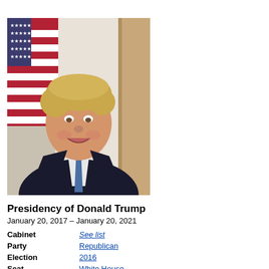[Figure (photo): Official White House portrait photograph of Donald Trump, smiling, wearing a dark suit with a blue tie and American flag lapel pin, with an American flag and ornate background visible behind him.]
Presidency of Donald Trump
January 20, 2017 – January 20, 2021
| Cabinet | See list |
| Party | Republican |
| Election | 2016 |
| Seat | White House |